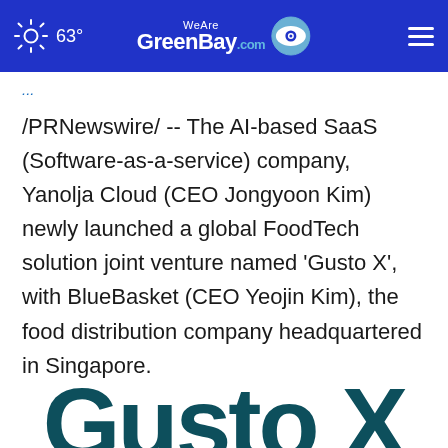WeAreGreenBay.com — 63°
/PRNewswire/ -- The AI-based SaaS (Software-as-a-service) company, Yanolja Cloud (CEO Jongyoon Kim) newly launched a global FoodTech solution joint venture named 'Gusto X', with BlueBasket (CEO Yeojin Kim), the food distribution company headquartered in Singapore.
[Figure (logo): Gusto X logo — large teal bold text partially visible at bottom of page]